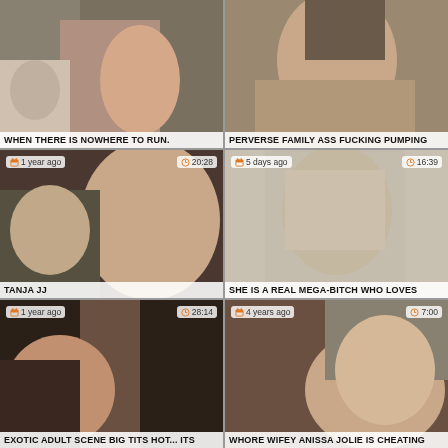[Figure (photo): Video thumbnail grid cell 1 - adult video thumbnail]
WHEN THERE IS NOWHERE TO RUN.
[Figure (photo): Video thumbnail grid cell 2 - adult video thumbnail]
PERVERSE FAMILY ASS FUCKING PUMPING
[Figure (photo): Video thumbnail grid cell 3 - adult video thumbnail, 1 year ago, 20:28]
TANJA JJ
[Figure (photo): Video thumbnail grid cell 4 - adult video thumbnail, 5 days ago, 16:39]
SHE IS A REAL MEGA-BITCH WHO LOVES
[Figure (photo): Video thumbnail grid cell 5 - adult video thumbnail, 1 year ago, 28:14]
EXOTIC ADULT SCENE BIG TITS HOT... ITS
[Figure (photo): Video thumbnail grid cell 6 - adult video thumbnail, 4 years ago, 7:00]
WHORE WIFEY ANISSA JOLIE IS CHEATING